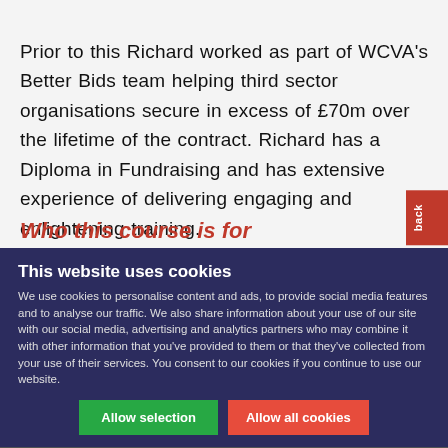Prior to this Richard worked as part of WCVA's Better Bids team helping third sector organisations secure in excess of £70m over the lifetime of the contract. Richard has a Diploma in Fundraising and has extensive experience of delivering engaging and enlightening training.
Who this course is for
This website uses cookies
We use cookies to personalise content and ads, to provide social media features and to analyse our traffic. We also share information about your use of our site with our social media, advertising and analytics partners who may combine it with other information that you've provided to them or that they've collected from your use of their services. You consent to our cookies if you continue to use our website.
Allow selection | Allow all cookies
Necessary | Preferences | Statistics | Marketing | Show details